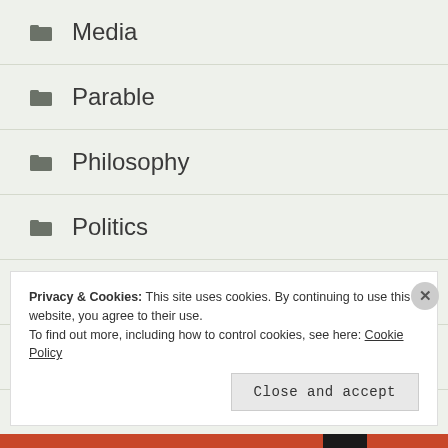Media
Parable
Philosophy
Politics
Reverie
Rhetoric
Privacy & Cookies: This site uses cookies. By continuing to use this website, you agree to their use.
To find out more, including how to control cookies, see here: Cookie Policy
Close and accept